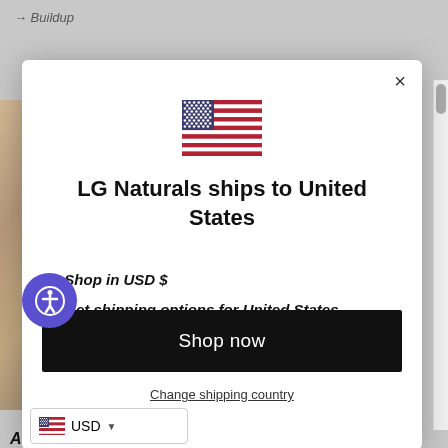→ Buildup
[Figure (screenshot): US flag emoji displayed at top of modal dialog]
LG Naturals ships to United States
Shop in USD $
Get shipping options for United States
Shop now
Change shipping country
USD
About Earth Harbor: Women Owned